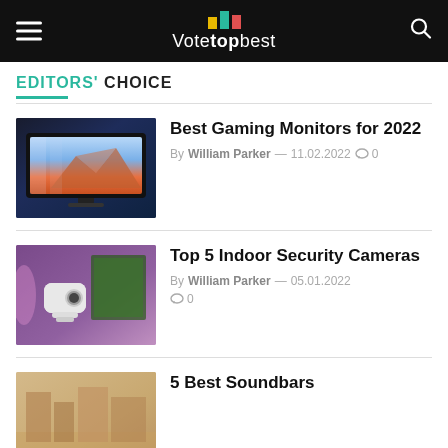VoteTopBest
EDITORS' CHOICE
Best Gaming Monitors for 2022
By William Parker — 11.02.2022  0
Top 5 Indoor Security Cameras
By William Parker — 05.01.2022  0
5 Best Soundbars